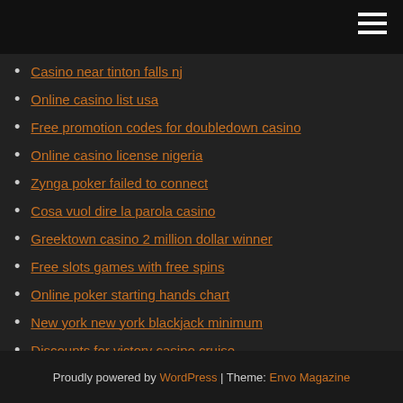Casino near tinton falls nj
Online casino list usa
Free promotion codes for doubledown casino
Online casino license nigeria
Zynga poker failed to connect
Cosa vuol dire la parola casino
Greektown casino 2 million dollar winner
Free slots games with free spins
Online poker starting hands chart
New york new york blackjack minimum
Discounts for victory casino cruise
Proudly powered by WordPress | Theme: Envo Magazine